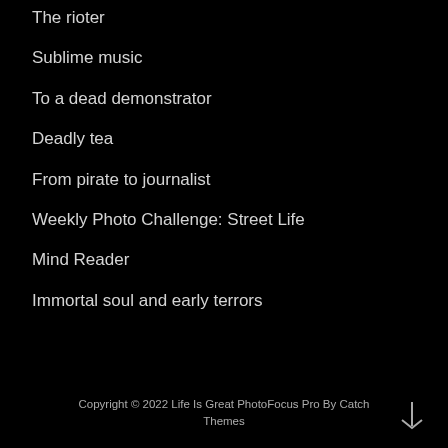The rioter
Sublime music
To a dead demonstrator
Deadly tea
From pirate to journalist
Weekly Photo Challenge: Street Life
Mind Reader
Immortal soul and early terrors
Copyright © 2022 Life Is Great PhotoFocus Pro By Catch Themes